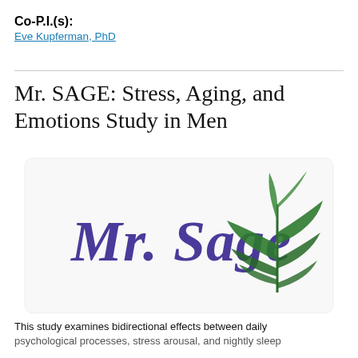Co-P.I.(s): Eve Kupferman, PhD
Mr. SAGE: Stress, Aging, and Emotions Study in Men
[Figure (logo): Mr. Sage logo with purple italic serif text 'Mr. Sage' and a green sage plant illustration to the right]
This study examines bidirectional effects between daily psychological processes, stress arousal, and nightly sleep